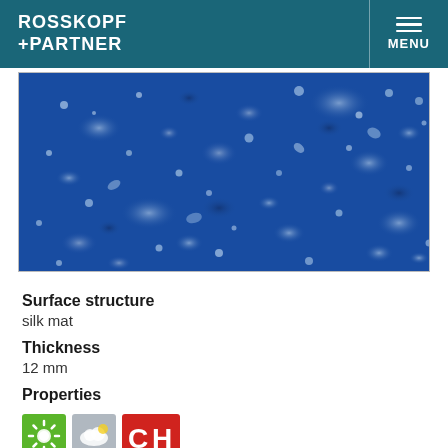ROSSKOPF +PARTNER  MENU
[Figure (photo): Close-up macro photograph of a blue granite-like surface with white/light speckles and mineral inclusions scattered throughout, showing the surface texture of a material (silk mat finish).]
Surface structure
silk mat
Thickness
12 mm
Properties
[Figure (infographic): Three property icons: a green square icon with a sun symbol indicating UV/weather resistance, a grey square icon with a cloud/weather symbol, and a red rectangle icon with 'CH' letters indicating Swiss/Carat Hüppe branding or certification.]